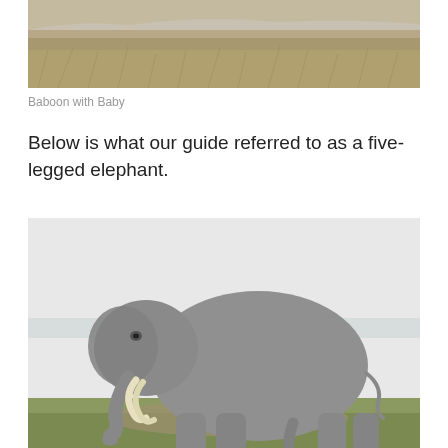[Figure (photo): Partial photograph of dry grassy savanna landscape, top portion cropped — labeled as Baboon with Baby]
Baboon with Baby
Below is what our guide referred to as a five-legged elephant.
[Figure (photo): Photograph of a large African elephant with tusks standing on grass in an open savanna, viewed from the side, showing large body and legs]